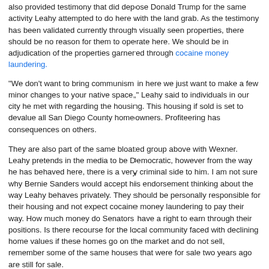also provided testimony that did depose Donald Trump for the same activity Leahy attempted to do here with the land grab. As the testimony has been validated currently through visually seen properties, there should be no reason for them to operate here. We should be in adjudication of the properties garnered through cocaine money laundering.
"We don't want to bring communism in here we just want to make a few minor changes to your native space," Leahy said to individuals in our city he met with regarding the housing. This housing if sold is set to devalue all San Diego County homeowners. Profiteering has consequences on others.
They are also part of the same bloated group above with Wexner. Leahy pretends in the media to be Democratic, however from the way he has behaved here, there is a very criminal side to him. I am not sure why Bernie Sanders would accept his endorsement thinking about the way Leahy behaves privately. They should be personally responsible for their housing and not expect cocaine money laundering to pay their way. How much money do Senators have a right to earn through their positions. Is there recourse for the local community faced with declining home values if these homes go on the market and do not sell, remember some of the same houses that were for sale two years ago are still for sale.
Does their game have an end here where the homes are removed and illegals in detention centers are deported.
We need a reoffenders list of financial criminals. America does not need to repeat the same scenario over and over only to looe money.
Finally an answer to question we always asked about 2008 401K crash conducted by Bush Carlyle, it was admitted on August 26, 2019, by  George W Bush, "We created those with the stock brokers," 401Ks to steal American citizens money by crash.
How can we secure our money from them and not be a walking ATM for individuals who are "popular" in the media. Are they really popular? If America